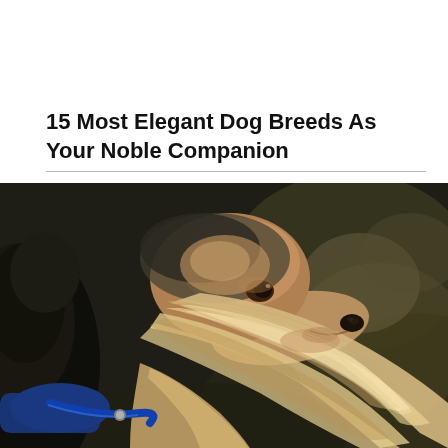15 Most Elegant Dog Breeds As Your Noble Companion
[Figure (photo): Close-up photograph of an Afghan Hound with long flowing blonde/cream hair blowing in the wind, wearing a blue collar, photographed against a dark bokeh background of trees/foliage. The dog is looking to the right in profile.]